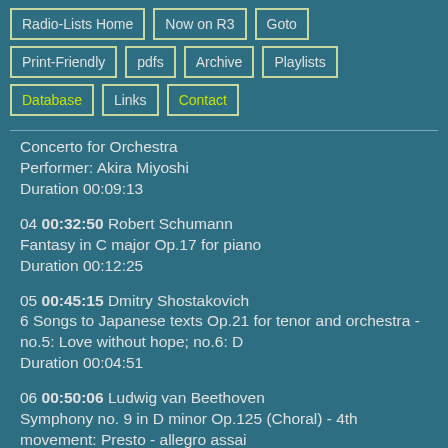Radio-Lists Home
Now on R3
Goto
Print-Friendly
pdfs
Archive
Playlists
Database
Links
Contact
Concerto for Orchestra
Performer: Akira Miyoshi
Duration 00:09:13
04 00:32:50 Robert Schumann
Fantasy in C major Op.17 for piano
Duration 00:12:25
05 00:45:15 Dmitry Shostakovich
6 Songs to Japanese texts Op.21 for tenor and orchestra - no.5: Love without hope; no.6: D
Duration 00:04:51
06 00:50:06 Ludwig van Beethoven
Symphony no. 9 in D minor Op.125 (Choral) - 4th movement: Presto - allegro assai